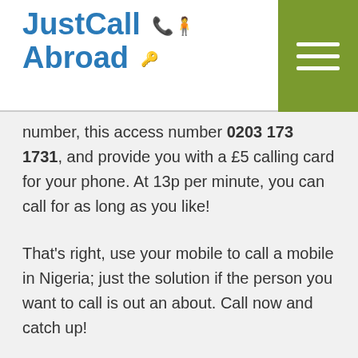[Figure (logo): JustCall Abroad logo with phone/person icon and key icon]
[Figure (other): Green hamburger menu button in top-right corner]
number, this access number 0203 173 1731, and provide you with a £5 calling card for your phone. At 13p per minute, you can call for as long as you like!
That's right, use your mobile to call a mobile in Nigeria; just the solution if the person you want to call is out an about. Call now and catch up!